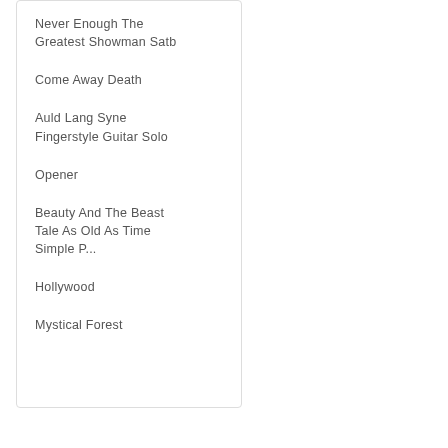Never Enough The Greatest Showman Satb
Come Away Death
Auld Lang Syne Fingerstyle Guitar Solo
Opener
Beauty And The Beast Tale As Old As Time Simple P...
Hollywood
Mystical Forest